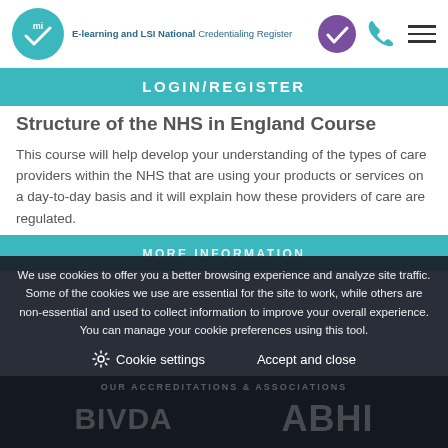E-learning and LSI National Credentialing Register
LOGIN/REGISTER
Structure of the NHS in England Course
This course will help develop your understanding of the types of care providers within the NHS that are using your products or services on a day-to-day basis and it will explain how these providers of care are regulated.
MORE INFORMATION
We use cookies to offer you a better browsing experience and analyze site traffic. Some of the cookies we use are essential for the site to work, while others are non-essential and used to collect information to improve your overall experience. You can manage your cookie preferences using this tool.
Cookie settings   Accept and close
OUR ACCREDITATIONS & ASSOCIATIONS
BIVDA   ABHI